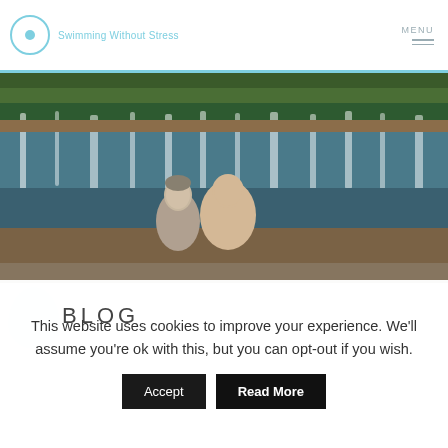Swimming Without Stress | MENU
[Figure (photo): Two people (a woman and a man) standing in front of a waterfall pool with green foliage in the background, smiling at the camera.]
BLOG
This website uses cookies to improve your experience. We'll assume you're ok with this, but you can opt-out if you wish.
Accept  Read More